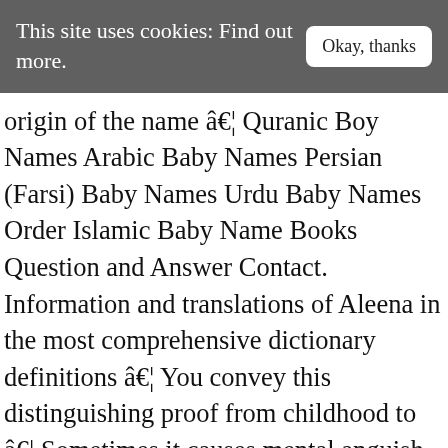This site uses cookies: Find out more.   Okay, thanks
origin of the name â€¦ Quranic Boy Names Arabic Baby Names Persian (Farsi) Baby Names Urdu Baby Names Order Islamic Baby Name Books Question and Answer Contact. Information and translations of Aleena in the most comprehensive dictionary definitions â€¦ You convey this distinguishing proof from childhood to â€¦ Sometimes it causes mental anguish in their lives. Meaning of Aleena. A name gives you recognizable proof in the society. What does Aleena mean? Aleena name meaning in Urdu is “ØØ³Ø­ÙØ© Ø®ÙØ°ØµÙØ±Ø° ØØ®ÙØ' Ø'Ú©ÙØØÙع”. The meaning of the name â€œAleenaâ€ is different in several